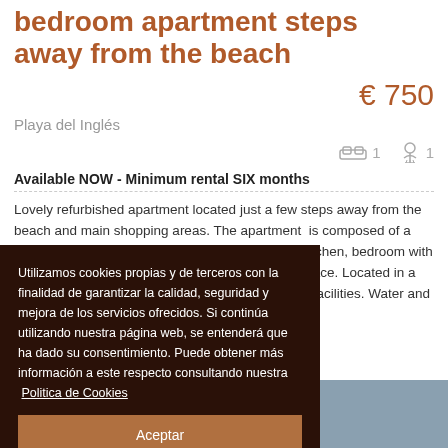bedroom apartment steps away from the beach
€ 750
Playa del Inglés
1  1
Available NOW - Minimum rental SIX months
Lovely refurbished apartment located just a few steps away from the beach and main shopping areas. The apartment  is composed of a bright living room area with open plan american kitchen, bedroom with fitted wardrobe and large window, bathroom & terrace. Located in a complex with swimming pool, garden and parking facilities. Water and light included in the rental, with
Utilizamos cookies propias y de terceros con la finalidad de garantizar la calidad, seguridad y mejora de los servicios ofrecidos. Si continúa utilizando nuestra página web, se entenderá que ha dado su consentimiento. Puede obtener más información a este respecto consultando nuestra  Politica de Cookies
Aceptar
[Figure (photo): Photo strip at the bottom showing apartment or beach images]